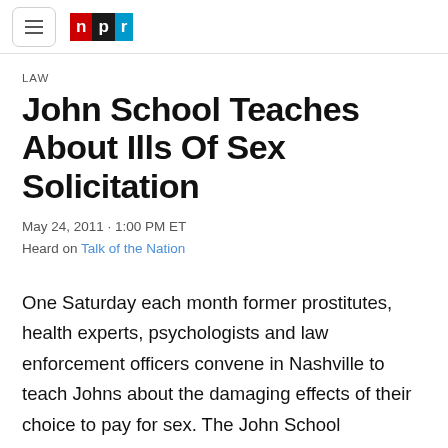NPR logo and navigation
LAW
John School Teaches About Ills Of Sex Solicitation
May 24, 2011 · 1:00 PM ET
Heard on Talk of the Nation
One Saturday each month former prostitutes, health experts, psychologists and law enforcement officers convene in Nashville to teach Johns about the damaging effects of their choice to pay for sex. The John School program's director, Kenny Baker, explains.